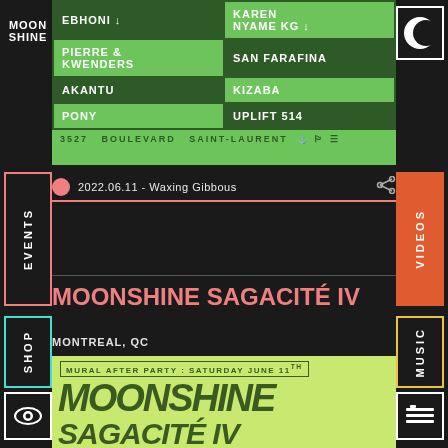[Figure (logo): MOONSHINE logo text in white, stacked]
| EBHONI ↓ | KAREN NYAME KG ↓ |
| PIERRE & KWENDERS | SAN FARAFINA |
| AKANTU | KIZABA |
| PONY | UPLIFT 514 |
3527  BOULEVARD  SAINT-LAURENT
2022.06.11 - Waxing Gibbous
MOONSHINE SAGACITÉ IV
MONTREAL, QC
[Figure (poster): Event poster: MURAL AFTER PARTY: SATURDAY JUNE 11TH with MOONSHINE SAGACITE IV in large bold italic text on lime green background]
EVENTS
SHOP
VIDEOS
MUSIC